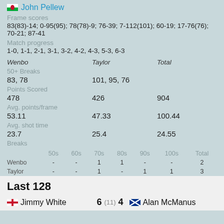John Pellew
Frame scores
83(83)-14; 0-95(95); 78(78)-9; 76-39; 7-112(101); 60-19; 17-76(76); 70-21; 87-41
Match progress
1-0, 1-1, 2-1, 3-1, 3-2, 4-2, 4-3, 5-3, 6-3
| Wenbo | Taylor | Total |
| --- | --- | --- |
| 50+ Breaks |  |  |
| 83, 78 | 101, 95, 76 |  |
| Points Scored |  |  |
| 478 | 426 | 904 |
| Avg. points/frame |  |  |
| 53.11 | 47.33 | 100.44 |
| Avg. shot time |  |  |
| 23.7 | 25.4 | 24.55 |
| Breaks |  |  |
|  | 50s  60s  70s  80s  90s  100s  Total |  |
| Wenbo | -  -  1  1  -  -  2 |  |
| Taylor | -  -  1  -  1  1  3 |  |
Last 128
Jimmy White  6  (11)  4  Alan McManus